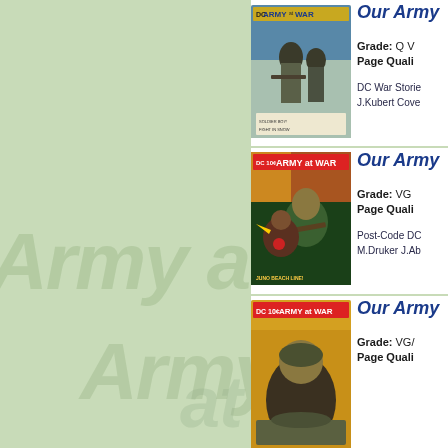[Figure (illustration): Comic book cover for 'Our Army at War' - DC war comic, soldiers in gray/khaki]
Our Army...
Grade: Q V... Page Quali...
DC War Stories J.Kubert Cove...
[Figure (illustration): Comic book cover for 'Our Army at War' - soldier in green holding rifle]
Our Army...
Grade: VG Page Quali...
Post-Code DC M.Druker J.Ab...
[Figure (illustration): Comic book cover for 'Our Army at War' - DC war comic, partially visible]
Our Army...
Grade: VG/... Page Quali...